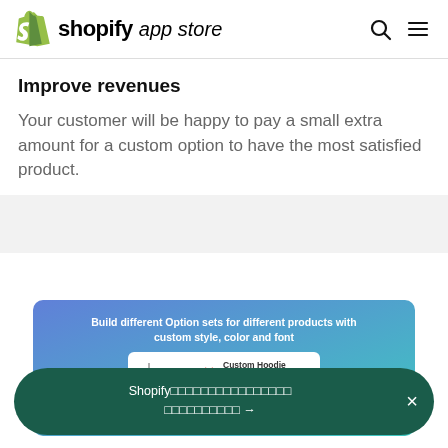shopify app store
Improve revenues
Your customer will be happy to pay a small extra amount for a custom option to have the most satisfied product.
[Figure (screenshot): A blue-to-teal gradient banner showing 'Build different Option sets for different products with custom style, color and font' with a product card preview below]
Shopify□□□□□□□□□□□□□□□□ □□□□□□□□□□ →